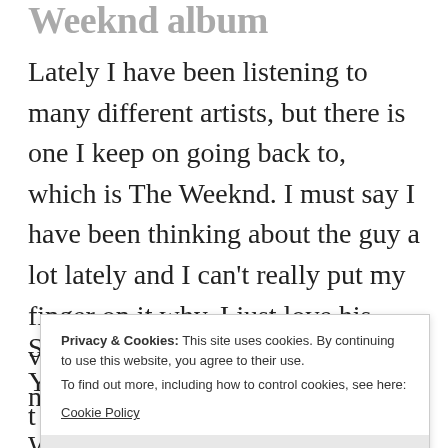Weeknd album
Lately I have been listening to many different artists, but there is one I keep on going back to, which is The Weeknd. I must say I have been thinking about the guy a lot lately and I can't really put my finger on it why. I just love his voice so much, I really long for a new album.
Privacy & Cookies: This site uses cookies. By continuing to use this website, you agree to their use.
To find out more, including how to control cookies, see here:
Cookie Policy
Close and accept